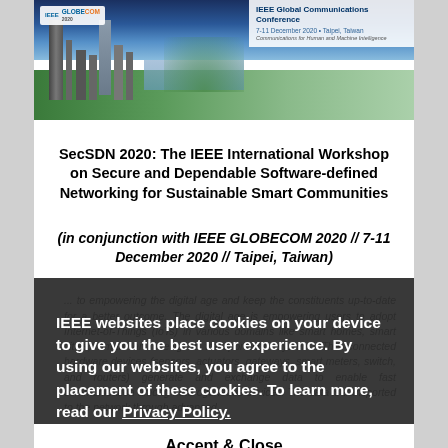[Figure (photo): IEEE GLOBECOM 2020 banner image showing Taipei skyline with mountains and ocean, overlaid with conference branding: IEEE GLOBECOM 2020, 7-11 December 2020 - Taipei, Taiwan, Communications for Human and Machine Intelligence]
SecSDN 2020: The IEEE International Workshop on Secure and Dependable Software-defined Networking for Sustainable Smart Communities
(in conjunction with IEEE GLOBECOM 2020 // 7-11 December 2020 // Taipei, Taiwan)
IEEE websites place cookies on your device to give you the best user experience. By using our websites, you agree to the placement of these cookies. To learn more, read our Privacy Policy.
Accept & Close